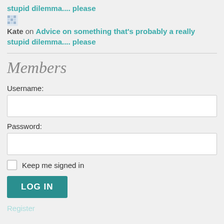stupid dilemma.... please
Kate on Advice on something that's probably a really stupid dilemma.... please
Members
Username:
Password:
Keep me signed in
LOG IN
Register